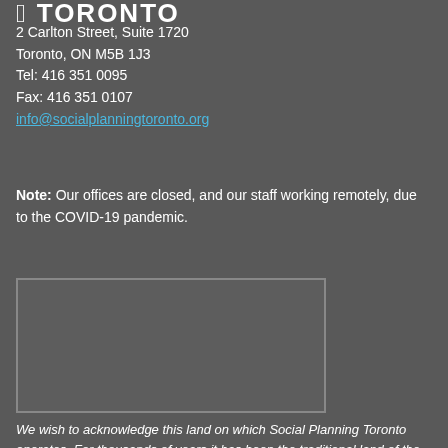Toronto
2 Carlton Street, Suite 1720
Toronto, ON M5B 1J3
Tel: 416 351 0095
Fax: 416 351 0107
info@socialplanningtoronto.org
Note: Our offices are closed, and our staff working remotely, due to the COVID-19 pandemic.
[Figure (photo): Rectangular image placeholder with grey border on dark grey background]
We wish to acknowledge this land on which Social Planning Toronto operates. For thousands of years it has been the traditional land of the Huron-Wendat, the S...